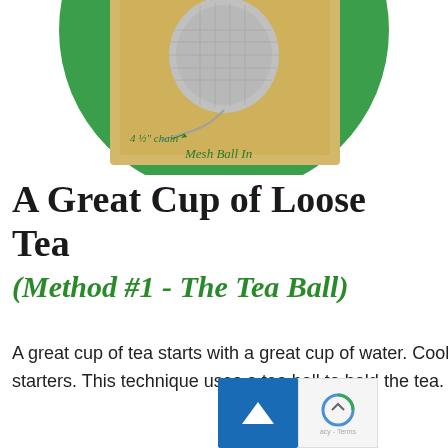[Figure (photo): A circular green product image showing a silver mesh tea ball infuser with a 4 1/2 inch chain, labeled 'Mesh Ball In' on a tan/gold background, with a 'Coy n Teas' logo overlaid in the lower right corner featuring a paw print design with green tea leaf.]
A Great Cup of Loose Tea
(Method #1 - The Tea Ball)
A great cup of tea starts with a great cup of water. Cool, filtered or spring water is the best for starters. This technique uses a tea ball to hold the tea.